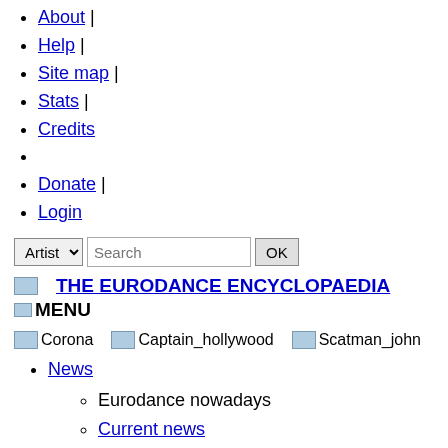About |
Help |
Site map |
Stats |
Credits
Donate |
Login
Artist [dropdown] Search [text input] OK [button]
THE EURODANCE ENCYCLOPAEDIA
MENU
[Figure (photo): Corona artist image placeholder]
[Figure (photo): Captain_hollywood artist image placeholder]
[Figure (photo): Scatman_john artist image placeholder]
News
Eurodance nowadays
Current news
Twitter
10 top eurodance news for 2012
News history
Year 2022